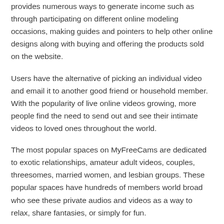provides numerous ways to generate income such as through participating on different online modeling occasions, making guides and pointers to help other online designs along with buying and offering the products sold on the website.
Users have the alternative of picking an individual video and email it to another good friend or household member. With the popularity of live online videos growing, more people find the need to send out and see their intimate videos to loved ones throughout the world.
The most popular spaces on MyFreeCams are dedicated to exotic relationships, amateur adult videos, couples, threesomes, married women, and lesbian groups. These popular spaces have hundreds of members world broad who see these private audios and videos as a way to relax, share fantasies, or simply for fun.
Depending on your settings link you might like to view this design 's photo or video. Tittsgirl Myfreecams